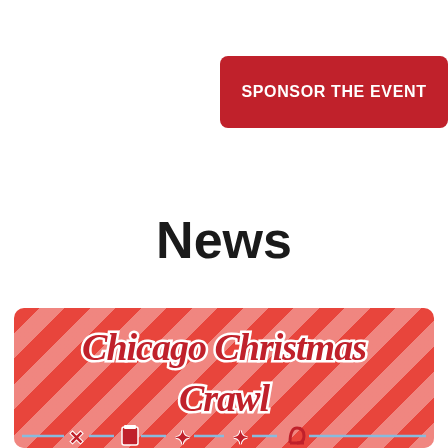[Figure (other): Red button with white bold text reading SPONSOR THE EVENT]
News
[Figure (other): Chicago Christmas Crawl promotional banner with red and white candy-cane diagonal stripe background, large stylized script text reading Chicago Christmas Crawl with icons]